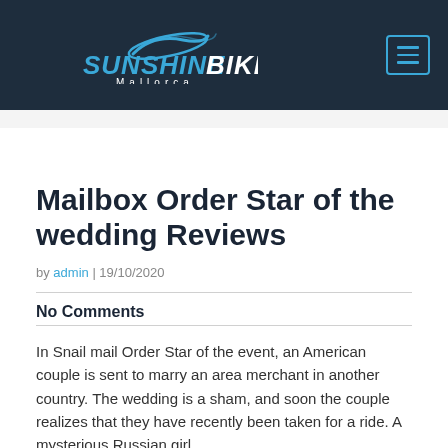[Figure (logo): Sunshine Bikes Mallorca logo with stylized bike icon in blue and white on dark navy background, with hamburger menu icon in upper right]
Mailbox Order Star of the wedding Reviews
by admin | 19/10/2020
No Comments
In Snail mail Order Star of the event, an American couple is sent to marry an area merchant in another country. The wedding is a sham, and soon the couple realizes that they have recently been taken for a ride. A mysterious Russian girl